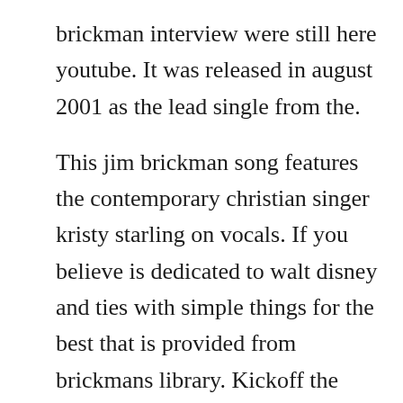brickman interview were still here youtube. It was released in august 2001 as the lead single from the.
This jim brickman song features the contemporary christian singer kristy starling on vocals. If you believe is dedicated to walt disney and ties with simple things for the best that is provided from brickmans library. Kickoff the release day of the album so you can check your jim brickman local listings for when were gonna be playing. Jim brickman miscellaneous after all these years anne